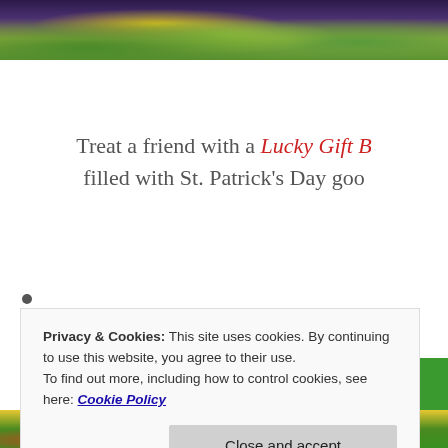[Figure (photo): Top portion of a website screenshot showing St. Patrick's Day themed decorative image with shamrocks and foliage on dark background]
Treat a friend with a Lucky Gift B... filled with St. Patrick's Day goo...
•
Privacy & Cookies: This site uses cookies. By continuing to use this website, you agree to their use.
To find out more, including how to control cookies, see here: Cookie Policy
Close and accept
[Figure (screenshot): Bottom portion of website showing St. Patrick's Day themed image with bird and decorative elements]